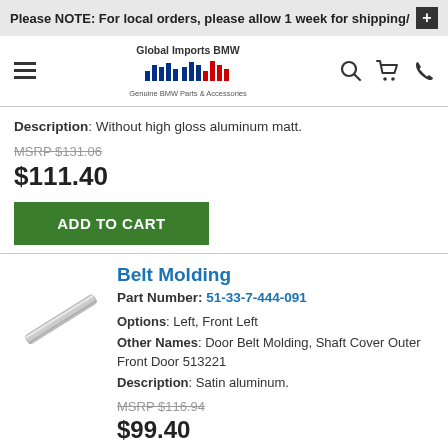Please NOTE: For local orders, please allow 1 week for shipping/
[Figure (logo): Global Imports BMW logo with bar chart graphic and tagline 'Genuine BMW Parts & Accessories']
Description: Without high gloss aluminum matt.
MSRP $131.06
$111.40
ADD TO CART
Belt Molding
Part Number: 51-33-7-444-091
Options: Left, Front Left
Other Names: Door Belt Molding, Shaft Cover Outer Front Door 513221
Description: Satin aluminum.
MSRP $116.94
$99.40
[Figure (photo): Belt Molding part - thin elongated strip/molding piece shown diagonally]